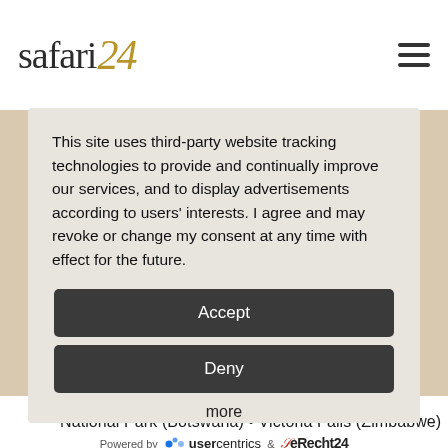Safari24 [logo with hamburger menu]
This site uses third-party website tracking technologies to provide and continually improve our services, and to display advertisements according to users' interests. I agree and may revoke or change my consent at any time with effect for the future.
Accept
Deny
more
Powered by usercentrics & eRecht24
National Park (Botswana) • Victoria Falls (Zimbabwe)